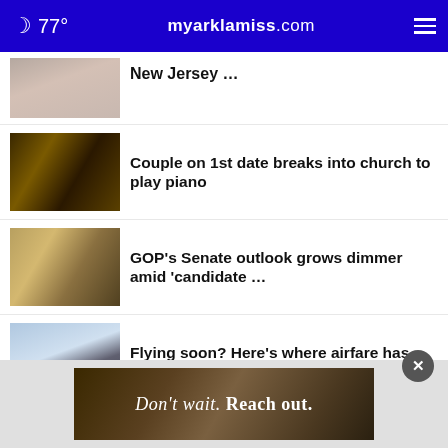77° myarklamiss.com
New Jersey …
Couple on 1st date breaks into church to play piano
GOP's Senate outlook grows dimmer amid 'candidate …
Flying soon? Here's where airfare has become more …
More Stories >
[Figure (photo): Advertisement banner: Don't wait. Reach out.]